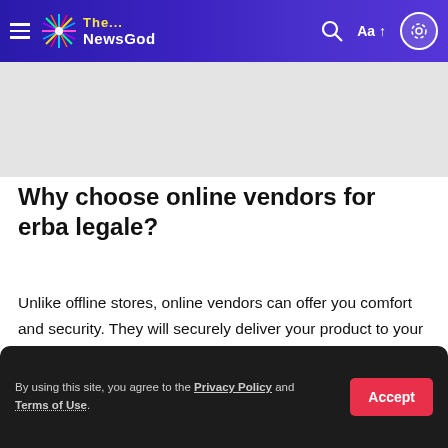The... NewsGod
[Figure (other): Gray advertisement banner placeholder]
Why choose online vendors for erba legale?
Unlike offline stores, online vendors can offer you comfort and security. They will securely deliver your product to your door 24*7. Pick up your portable device, order your products and you will receive them on the same day. A consumer can pay for his products through numerous payment options.
By using this site, you agree to the Privacy Policy and Terms of Use.